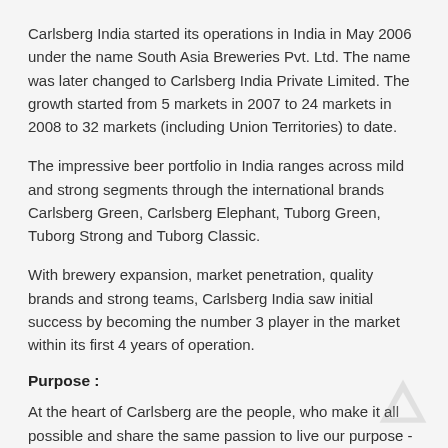Carlsberg India started its operations in India in May 2006 under the name South Asia Breweries Pvt. Ltd. The name was later changed to Carlsberg India Private Limited. The growth started from 5 markets in 2007 to 24 markets in 2008 to 32 markets (including Union Territories) to date.
The impressive beer portfolio in India ranges across mild and strong segments through the international brands Carlsberg Green, Carlsberg Elephant, Tuborg Green, Tuborg Strong and Tuborg Classic.
With brewery expansion, market penetration, quality brands and strong teams, Carlsberg India saw initial success by becoming the number 3 player in the market within its first 4 years of operation.
Purpose :
At the heart of Carlsberg are the people, who make it all possible and share the same passion to live our purpose - BREWING FOR A BETTER TODAY & TOMORROW